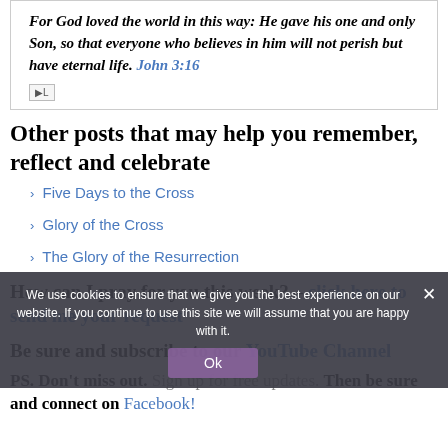For God loved the world in this way: He gave his one and only Son, so that everyone who believes in him will not perish but have eternal life. John 3:16
Other posts that may help you remember, reflect and celebrate
Five Days to the Cross
Glory of the Cross
The Glory of the Resurrection
How can I pray for you this week? – click here to send me your request
Be sure and subscribe to our YouTube Channel
PS. Don't miss out. Sign up for free updates. Then be sure and connect on Facebook!
We use cookies to ensure that we give you the best experience on our website. If you continue to use this site we will assume that you are happy with it.